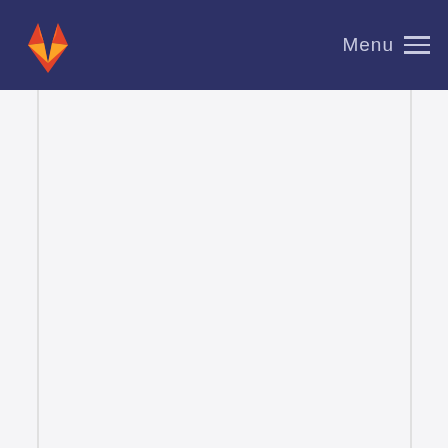GitLab — Menu
arh2 2.0 3.0 work together
Siqi Ling committed 7 years ago